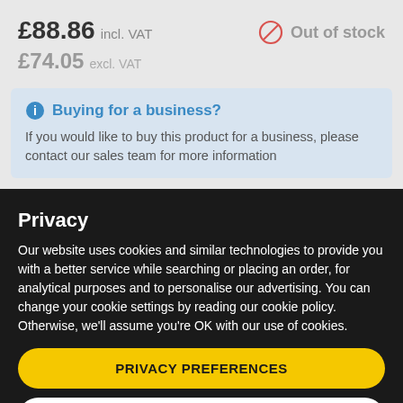£88.86 incl. VAT
Out of stock
£74.05 excl. VAT
Buying for a business?
If you would like to buy this product for a business, please contact our sales team for more information
Privacy
Our website uses cookies and similar technologies to provide you with a better service while searching or placing an order, for analytical purposes and to personalise our advertising. You can change your cookie settings by reading our cookie policy. Otherwise, we'll assume you're OK with our use of cookies.
PRIVACY PREFERENCES
I AGREE